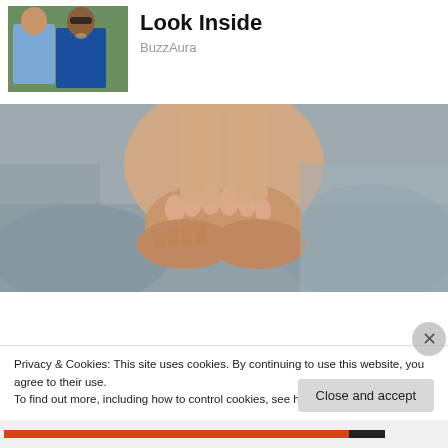[Figure (photo): Couple standing outdoors, man in blue shirt, woman in blue dress]
Look Inside
BuzzAura
[Figure (photo): Person sitting on bed holding their feet, gray bedding]
Privacy & Cookies: This site uses cookies. By continuing to use this website, you agree to their use.
To find out more, including how to control cookies, see here: Cookie Policy
Close and accept